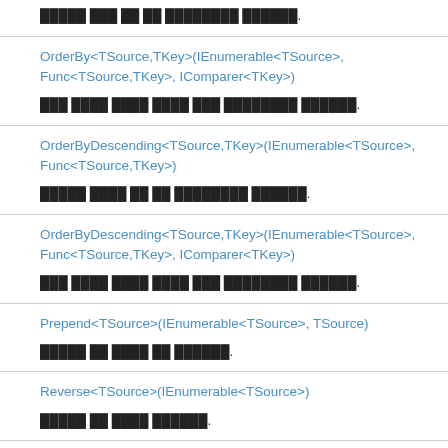█████ ███ ██ ██ ████████ ██████.
OrderBy<TSource,TKey>(IEnumerable<TSource>, Func<TSource,TKey>, IComparer<TKey>)
███ ████ ████ ████ ███ ████████ ██████.
OrderByDescending<TSource,TKey>(IEnumerable<TSource>, Func<TSource,TKey>)
█████ ████ ██ ██ ████████ ██████.
OrderByDescending<TSource,TKey>(IEnumerable<TSource>, Func<TSource,TKey>, IComparer<TKey>)
███ ████ ████ ████ ███ ████████ ██████.
Prepend<TSource>(IEnumerable<TSource>, TSource)
█████ ██ ████ ██ ██████.
Reverse<TSource>(IEnumerable<TSource>)
█████ ██ ████ ██████.
Select<TSource,TResult>(IEnumerable<TSource>…